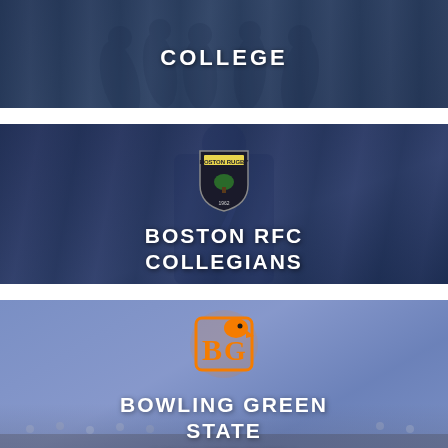[Figure (photo): Dark blue-toned photo of college rugby players running on a field, with 'COLLEGE' text overlay]
COLLEGE
[Figure (photo): Dark blue-toned photo of a rugby player wearing jersey number 7 from behind, with Boston RFC crest logo and 'BOSTON RFC COLLEGIANS' text overlay]
BOSTON RFC COLLEGIANS
[Figure (photo): Blue-toned photo with Bowling Green State University falcon logo (BG) and 'BOWLING GREEN STATE UNIVERSITY' text overlay, stadium crowd in background]
BOWLING GREEN STATE UNIVERSITY